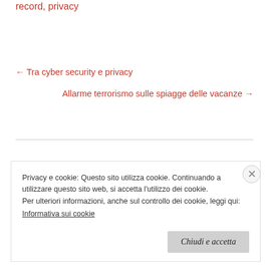record, privacy
← Tra cyber security e privacy
Allarme terrorismo sulle spiagge delle vacanze →
Privacy e cookie: Questo sito utilizza cookie. Continuando a utilizzare questo sito web, si accetta l'utilizzo dei cookie.
Per ulteriori informazioni, anche sul controllo dei cookie, leggi qui:
Informativa sui cookie
Chiudi e accetta